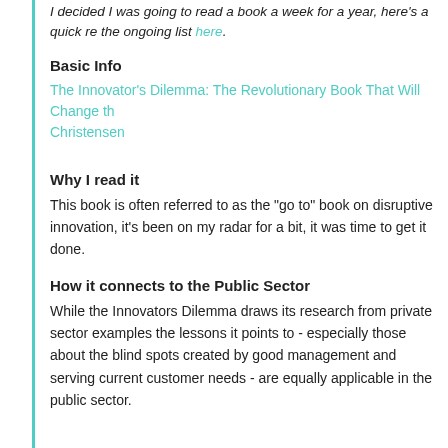I decided I was going to read a book a week for a year, here's a quick re the ongoing list here.
Basic Info
The Innovator's Dilemma: The Revolutionary Book That Will Change th Christensen
Why I read it
This book is often referred to as the "go to" book on disruptive innovation, it's been on my radar for a bit, it was time to get it done.
How it connects to the Public Sector
While the Innovators Dilemma draws its research from private sector examples the lessons it points to - especially those about the blind spots created by good management and serving current customer needs - are equally applicable in the public sector.